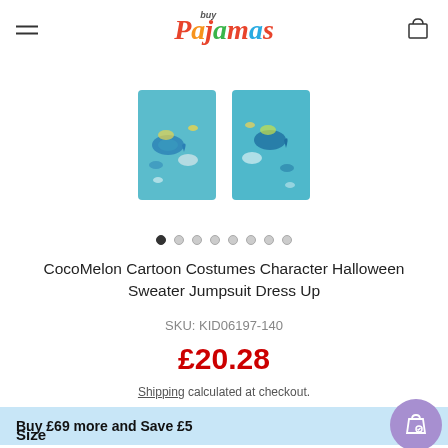BuyPajamas (logo header with hamburger menu and cart icon)
[Figure (photo): Two teal/aqua colored fabric swatches with whale print pattern shown as product thumbnails]
CocoMelon Cartoon Costumes Character Halloween Sweater Jumpsuit Dress Up
SKU: KID06197-140
£20.28
Shipping calculated at checkout.
Buy £69 more and Save £5
Size